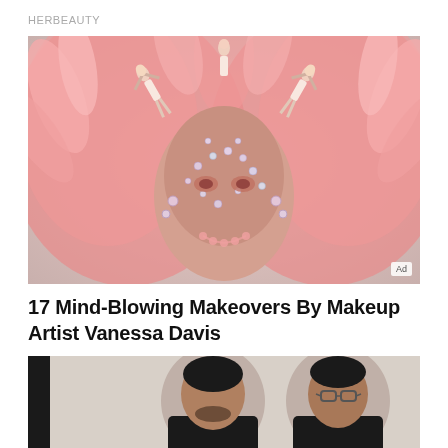HERBEAUTY
[Figure (photo): Elaborate fantasy makeup look with pink feathers, mini Barbie dolls, and rhinestones covering a face as a headdress. Ad badge in bottom right corner.]
17 Mind-Blowing Makeovers By Makeup Artist Vanessa Davis
BRAINBERRIES
[Figure (photo): Two men wearing black shirts posing together against a light background, partially cropped at bottom of page.]